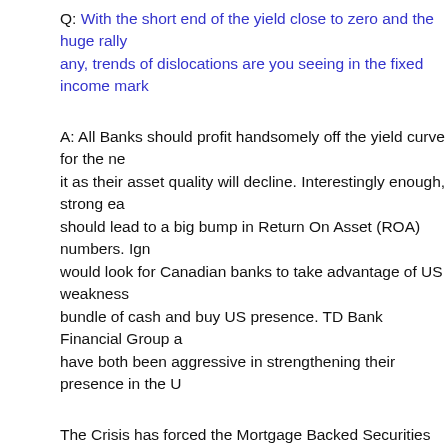Q: With the short end of the yield close to zero and the huge rally [… any, trends of dislocations are you seeing in the fixed income mark…
A: All Banks should profit handsomely off the yield curve for the ne… it as their asset quality will decline. Interestingly enough, strong ea… should lead to a big bump in Return On Asset (ROA) numbers. Ign… would look for Canadian banks to take advantage of US weakness… bundle of cash and buy US presence. TD Bank Financial Group a… have both been aggressive in strengthening their presence in the U…
The Crisis has forced the Mortgage Backed Securities market in th… guaranteed by the US government (Fannie and Freddie are now g… Canada is not far behind with CMHC guaranteeing the lion's share… smaller presence of Genworth insured paper. Both markets continu… the asset quality of US FHA mortgages, concerns me; the leverage… anything allowed in a private company.
Q: Mr. Cottam, what is your outlook on interest rates? Also, do you… deflation going forward?
A: Inflation as an increase in the Money supply M2 can be differ…